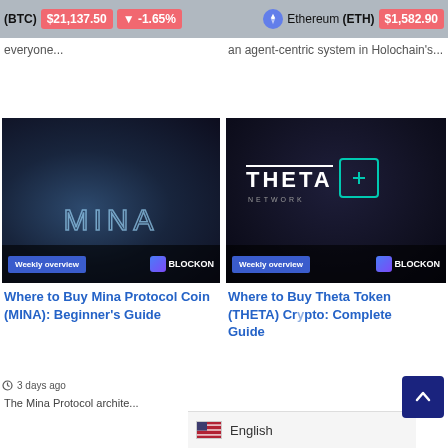(BTC) $21,137.50 ▼ -1.65%  Ethereum (ETH) $1,582.90
everyone...
an agent-centric system in Holochain's...
[Figure (screenshot): MINA cryptocurrency logo on dark background with Weekly overview badge and BLOCKON branding]
[Figure (screenshot): THETA NETWORK cryptocurrency logo on dark background with cyan icon, Weekly overview badge and BLOCKON branding]
Where to Buy Mina Protocol Coin (MINA): Beginner's Guide
Where to Buy Theta Token (THETA) Crypto: Complete Guide
3 days ago
The Mina Protocol architects...
English